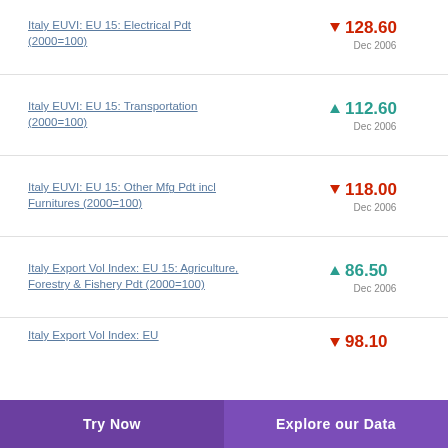Italy EUVI: EU 15: Electrical Pdt (2000=100)
Italy EUVI: EU 15: Transportation (2000=100)
Italy EUVI: EU 15: Other Mfg Pdt incl Furnitures (2000=100)
Italy Export Vol Index: EU 15: Agriculture, Forestry & Fishery Pdt (2000=100)
Italy Export Vol Index: EU
Try Now   Explore our Data